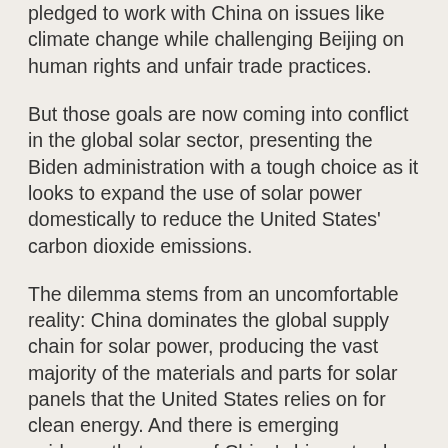pledged to work with China on issues like climate change while challenging Beijing on human rights and unfair trade practices.
But those goals are now coming into conflict in the global solar sector, presenting the Biden administration with a tough choice as it looks to expand the use of solar power domestically to reduce the United States' carbon dioxide emissions.
The dilemma stems from an uncomfortable reality: China dominates the global supply chain for solar power, producing the vast majority of the materials and parts for solar panels that the United States relies on for clean energy. And there is emerging evidence that some of China's biggest solar companies have worked with the Chinese government to absorb minority workers in the far western region of Xinjiang, programs